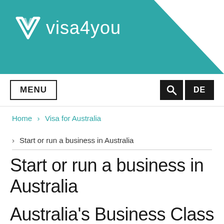[Figure (logo): visa4you logo with teal V icon and text 'visa4you' in white on teal background header]
MENU | 🔍 | DE
Home › Visa for Australia
› Start or run a business in Australia
Start or run a business in Australia
Australia's Business Class Entrepreneurs and